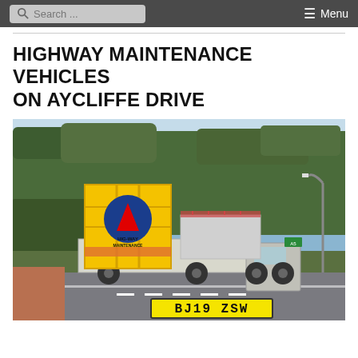Search ... Menu
HIGHWAY MAINTENANCE VEHICLES ON AYCLIFFE DRIVE
[Figure (photo): A highway maintenance truck with yellow signage equipment at the rear showing 'HIGHWAY MAINTENANCE' branding and a blue directional arrow sign, driving on Aycliffe Drive. The truck's rear number plate reads BJ19 ZSW. The scene shows a tree-lined road.]